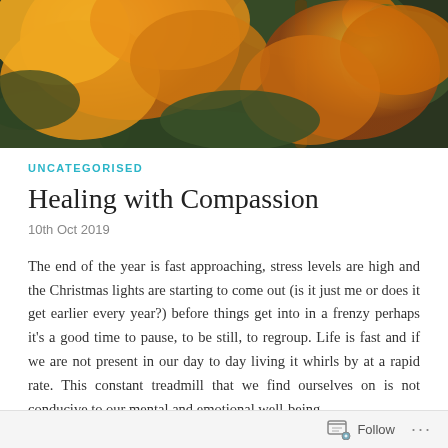[Figure (photo): Close-up photograph of orange/yellow flowers with dark green foliage background]
UNCATEGORISED
Healing with Compassion
10th Oct 2019
The end of the year is fast approaching, stress levels are high and the Christmas lights are starting to come out (is it just me or does it get earlier every year?) before things get into in a frenzy perhaps it's a good time to pause, to be still, to regroup. Life is fast and if we are not present in our day to day living it whirls by at a rapid rate. This constant treadmill that we find ourselves on is not conducive to our mental and emotional well-being.
Follow